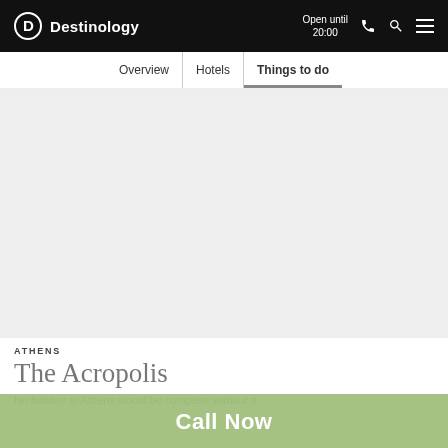Destinology — Open until 20:00
Overview | Hotels | Things to do
[Figure (photo): Large grey placeholder image area representing a photo of The Acropolis in Athens]
ATHENS
The Acropolis
No holiday to Athens would be complete without a
Call Now